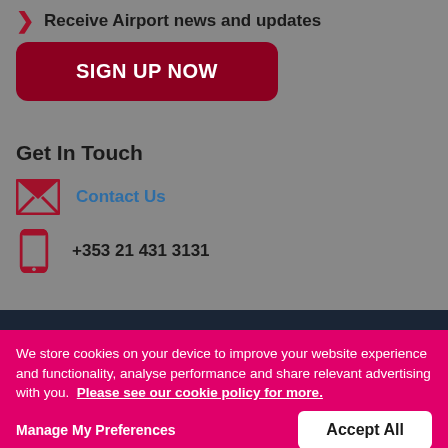Receive Airport news and updates
SIGN UP NOW
Get In Touch
Contact Us
+353 21 431 3131
We store cookies on your device to improve your website experience and functionality, analyse performance and share relevant advertising with you. Please see our cookie policy for more.
Manage My Preferences
Accept All